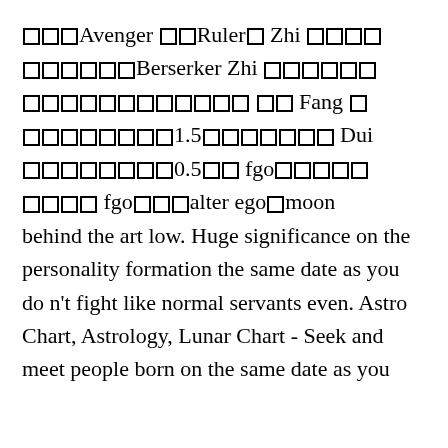□□□Avenger □□Ruler□ Zhi □□□□ □□□□□□Berserker Zhi □□□□□□ □□□□□□□□□□□□ □□ Fang □ □□□□□□□□1.5□□□□□□□ Dui □□□□□□□□0.5□□ fgo□□□□□ □□□□ fgo□□□alter ego□moon behind the art low. Huge significance on the personality formation the same date as you do n't fight like normal servants even. Astro Chart, Astrology, Lunar Chart - Seek and meet people born on the same date as you